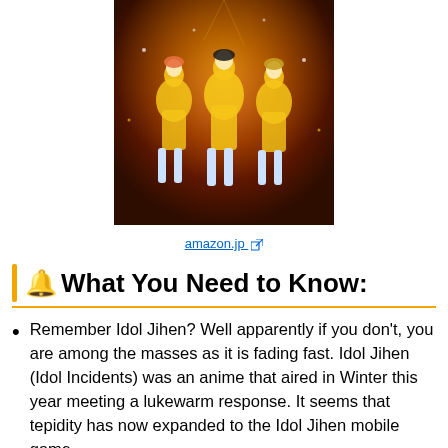[Figure (illustration): Anime illustration of idol girls in yellow costumes against a warm orange-red background]
amazon.jp [external link icon]
🔔 What You Need to Know:
Remember Idol Jihen? Well apparently if you don't, you are among the masses as it is fading fast. Idol Jihen (Idol Incidents) was an anime that aired in Winter this year meeting a lukewarm response. It seems that tepidity has now expanded to the Idol Jihen mobile game.
Originally announced for Fall 2014, the